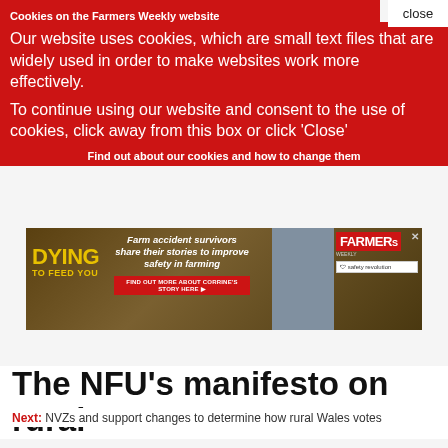Cookies on the Farmers Weekly website
Our website uses cookies, which are small text files that are widely used in order to make websites work more effectively.
To continue using our website and consent to the use of cookies, click away from this box or click 'Close'
Find out about our cookies and how to change them
[Figure (photo): Farmers Weekly advertisement: 'Dying to Feed You' campaign featuring farm accident survivor Corrine, with text 'Farm accident survivors share their stories to improve safety in farming. Find out more about Corrine's story here.']
The NFU's manifesto on rural
Next: NVZs and support changes to determine how rural Wales votes